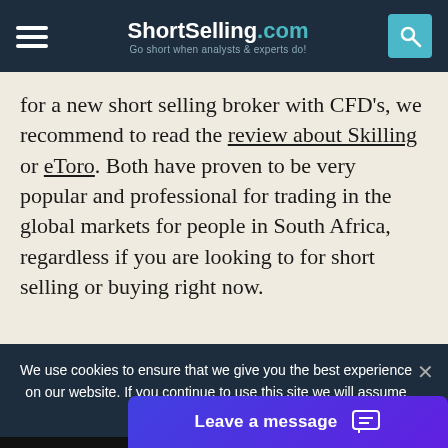ShortSelling.com — Go short when analysts & experts do!
for a new short selling broker with CFD's, we recommend to read the review about Skilling or eToro. Both have proven to be very popular and professional for trading in the global markets for people in South Africa, regardless if you are looking to for short selling or buying right now.
We use cookies to ensure that we give you the best experience on our website. If you continue to use this site we will assume that you are happy with it.
Leave a message